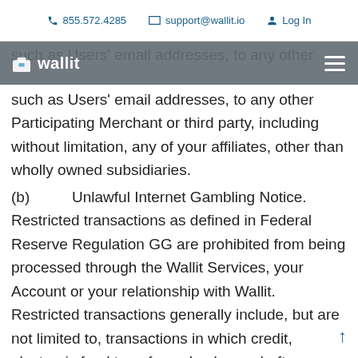855.572.4285   support@wallit.io   Log In
wallit
such as Users' email addresses, to any other Participating Merchant or third party, including without limitation, any of your affiliates, other than wholly owned subsidiaries.
(b)   Unlawful Internet Gambling Notice. Restricted transactions as defined in Federal Reserve Regulation GG are prohibited from being processed through the Wallit Services, your Account or your relationship with Wallit. Restricted transactions generally include, but are not limited to, transactions in which credit, electronic fund transfers, checks, or drafts are knowingly accepted